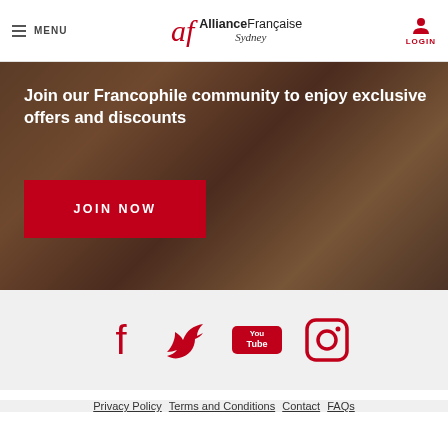MENU | Alliance Française Sydney | LOGIN
[Figure (photo): Hero image of young people dancing/celebrating outdoors with a red overlay tint, used as background for membership call-to-action banner]
Join our Francophile community to enjoy exclusive offers and discounts
JOIN NOW
[Figure (infographic): Social media icons in red: Facebook, Twitter, YouTube, Instagram]
Privacy Policy  Terms and Conditions  Contact  FAQs